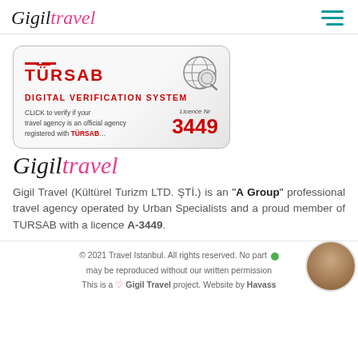Gigil Travel (logo) + hamburger menu
[Figure (other): TURSAB Digital Verification System badge showing Licence Nr 3449]
[Figure (logo): Gigil Travel handwritten-style logo]
Gigil Travel (Kültürel Turizm LTD. ŞTİ.) is an "A Group" professional travel agency operated by Urban Specialists and a proud member of TURSAB with a licence A-3449.
© 2021 Travel Istanbul. All rights reserved. No part may be reproduced without our written permission. This is a ♡ Gigil Travel project. Website by Havass